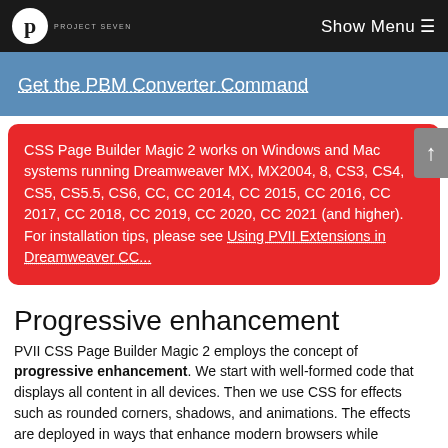PROJECT SEVEN   Show Menu
Get the PBM Converter Command
CSS Page Builder Magic 2 works on Windows and Mac systems running Dreamweaver MX, MX2004, 8, CS3, CS4, CS5, CS5.5, CS6, CC, CC 2014, CC 2015, CC 2016, CC 2017, CC 2018, CC 2019, CC 2020, CC 2021 (and higher). For installation tips, please see Using PVII Extensions in Dreamweaver CC...
Progressive enhancement
PVII CSS Page Builder Magic 2 employs the concept of progressive enhancement. We start with well-formed code that displays all content in all devices. Then we use CSS for effects such as rounded corners, shadows, and animations. The effects are deployed in ways that enhance modern browsers while assuring an attractive and accessible presentation in older ones. IE9, Firefox, Opera, Safari, Chrome, and even your iPhone display rounded corners and